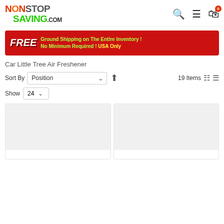NonStopSaving.com — navigation header with logo, search, menu, and cart (0 items)
[Figure (illustration): FREE Ground Shipping on The Entire Inventory! No Minimum Required! USA Only — red promotional banner]
Car Little Tree Air Freshener
Sort By  Position  ↑  19 Items
Show  24
[Figure (screenshot): Two product card placeholders in a grid layout with grey image areas]